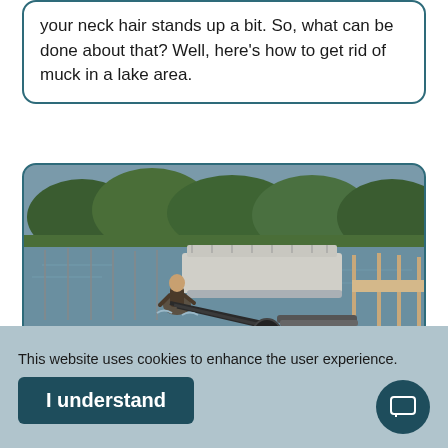your neck hair stands up a bit. So, what can be done about that? Well, here's how to get rid of muck in a lake area.
[Figure (photo): A person standing waist-deep in a lake near the shore, operating a mechanical dredging or muck removal device. A pontoon boat is visible in the background. The shoreline has a sandy/muddy beach with some grass. Trees are visible in the distance across the water.]
This website uses cookies to enhance the user experience.
I understand